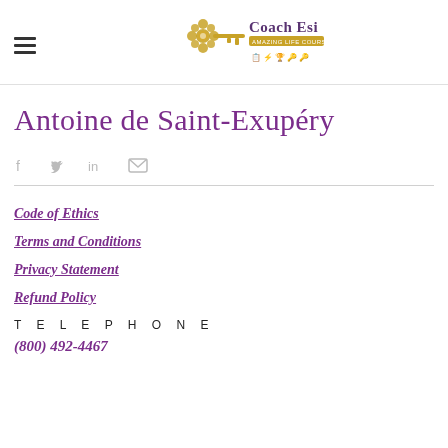Coach Esi [logo]
Antoine de Saint-Exupéry
[Figure (other): Social share icons: Facebook, Twitter, LinkedIn, Email]
Code of Ethics
Terms and Conditions
Privacy Statement
Refund Policy
TELEPHONE
(800) 492-4467